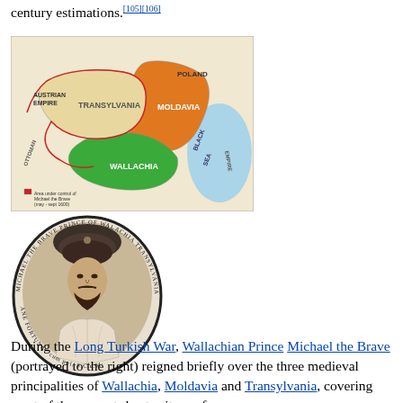century estimations.[105][106]
[Figure (map): Historical map showing the three medieval principalities: Transylvania (yellow/beige), Moldavia (orange), and Wallachia (green), with surrounding regions including Austrian Empire, Poland, Ottoman Empire, and the Black Sea. Red line indicates area under control of Michael the Brave (May-Sept 1600).]
[Figure (illustration): Black and white engraved portrait of Wallachian Prince Michael the Brave, shown in an oval frame with Latin text around the border. He wears a large turban and ornate clothing.]
During the Long Turkish War, Wallachian Prince Michael the Brave (portrayed to the right) reigned briefly over the three medieval principalities of Wallachia, Moldavia and Transylvania, covering most of the present-day territory of